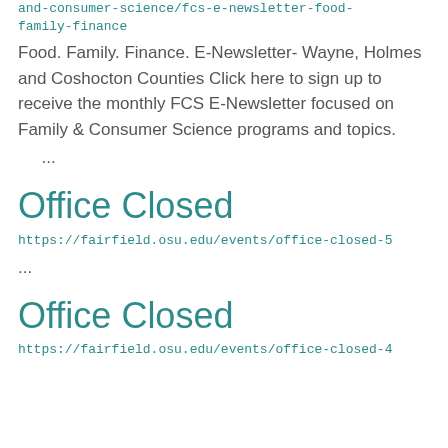and-consumer-science/fcs-e-newsletter-food-family-finance
Food. Family. Finance. E-Newsletter- Wayne, Holmes and Coshocton Counties Click here to sign up to receive the monthly FCS E-Newsletter focused on Family & Consumer Science programs and topics.
...
Office Closed
https://fairfield.osu.edu/events/office-closed-5
...
Office Closed
https://fairfield.osu.edu/events/office-closed-4